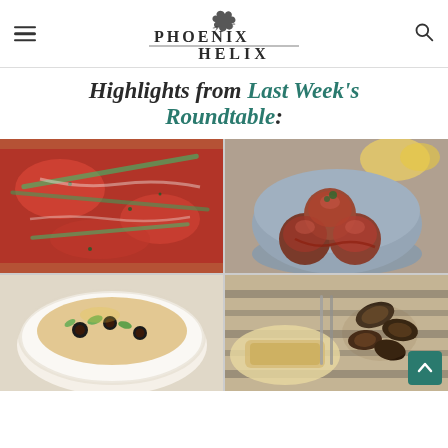Phoenix Helix
Highlights from Last Week's Roundtable:
[Figure (photo): Baked dish with red tomato sauce and vegetables in a rectangular baking pan]
[Figure (photo): Prosciutto-wrapped meatballs stacked in a grey ceramic bowl with lemon wedges in background]
[Figure (photo): Bowl of soup or stew with black olives, green vegetables in a white bowl]
[Figure (photo): Dish with mussels or shellfish served with bread on a striped cloth]